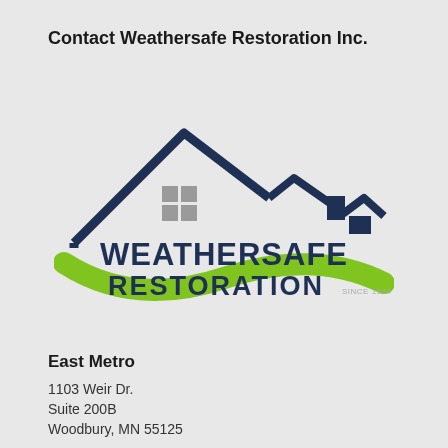Contact Weathersafe Restoration Inc.
[Figure (logo): Weathersafe Restoration logo featuring two house silhouettes with dark navy roof outlines, a grey window grid, a green curved swoosh beneath, and bold navy text reading WEATHERSAFE RESTORATION with SINCE 1994 in small grey text]
East Metro
1103 Weir Dr.
Suite 200B
Woodbury, MN 55125